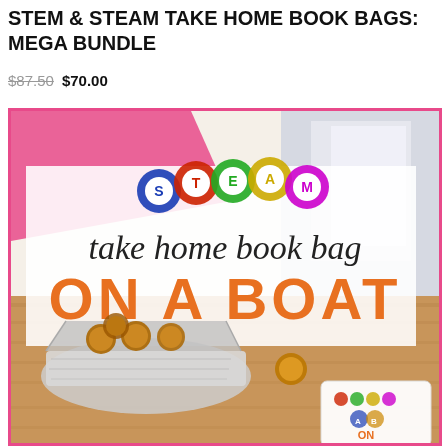STEM & STEAM TAKE HOME BOOK BAGS: MEGA BUNDLE
$87.50 $70.00
[Figure (photo): STEAM take home book bag 'ON A BOAT' product cover image showing colorful gear icons spelling STEAM, cursive text 'take home book bag', bold orange text 'ON A BOAT', and a photo of a foil boat with pennies/coins as a STEM experiment activity.]